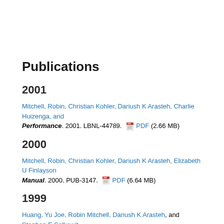Publications
2001
Mitchell, Robin, Christian Kohler, Dariush K Arasteh, Charlie Huizenga, and … Performance. 2001. LBNL-44789. PDF (2.66 MB)
2000
Mitchell, Robin, Christian Kohler, Dariush K Arasteh, Elizabeth U Finlayson… Manual. 2000. PUB-3147. PDF (6.64 MB)
1999
Huang, Yu Joe, Robin Mitchell, Dariush K Arasteh, and Stephen E Selkowit… Performance of the Exterior Envelopes of Buildings VII. Clearwater Beach…
Huizenga, Charlie, Dariush K Arasteh, Elizabeth U Finlayson, Robin Mitche… Steady-State Two-Dimensional Heat Transfer. Building Simulation 99…